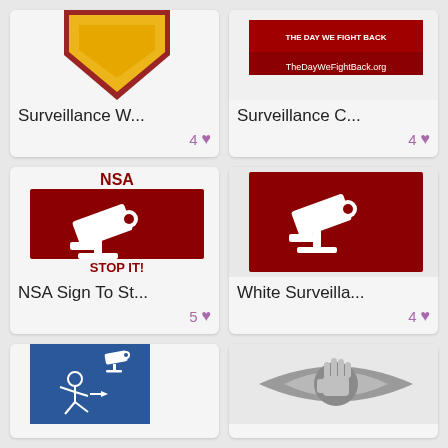[Figure (illustration): Card with partial yellow diamond/chevron icon on dark red background - Surveillance W... thumbnail]
Surveillance W...
4 ♥
[Figure (illustration): Card with TheDayWeFightBack.org banner image - Surveillance C... thumbnail]
Surveillance C...
4 ♥
[Figure (illustration): NSA Sign To St... - dark red background with white surveillance camera icon, NSA text in red above, STOP IT! text in red below]
NSA Sign To St...
5 ♥
[Figure (illustration): White Surveilla... - dark red background with white surveillance camera icon]
White Surveilla...
4 ♥
[Figure (illustration): Blue background with white stick figure running from a surveillance camera]
[Figure (illustration): Gray eye with hand/stop symbol inside]